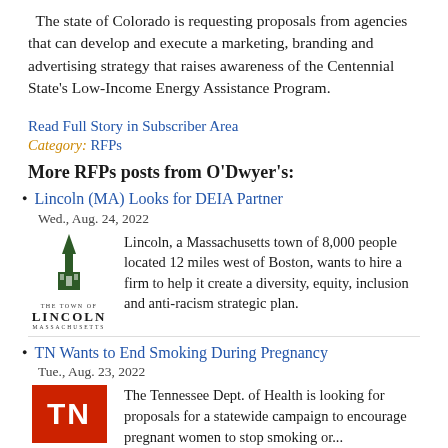The state of Colorado is requesting proposals from agencies that can develop and execute a marketing, branding and advertising strategy that raises awareness of the Centennial State's Low-Income Energy Assistance Program.
Read Full Story in Subscriber Area
Category: RFPs
More RFPs posts from O'Dwyer's:
Lincoln (MA) Looks for DEIA Partner
Wed., Aug. 24, 2022
Lincoln, a Massachusetts town of 8,000 people located 12 miles west of Boston, wants to hire a firm to help it create a diversity, equity, inclusion and anti-racism strategic plan.
TN Wants to End Smoking During Pregnancy
Tue., Aug. 23, 2022
The Tennessee Dept. of Health is looking for proposals for a statewide campaign to encourage pregnant women to stop smoking or...